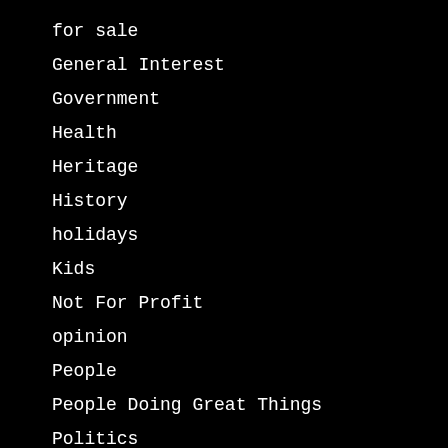for sale
General Interest
Government
Health
Heritage
History
holidays
Kids
Not For Profit
opinion
People
People Doing Great Things
Politics
Real Estate News